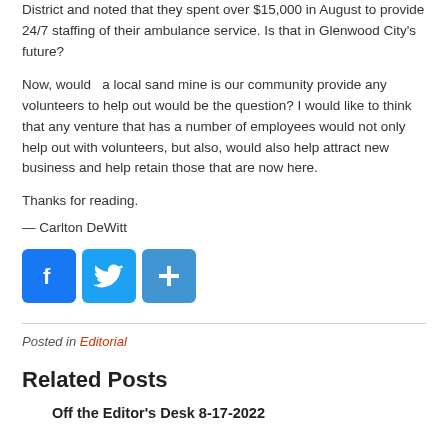District and noted that they spent over $15,000 in August to provide 24/7 staffing of their ambulance service. Is that in Glenwood City's future?
Now, would  a local sand mine is our community provide any volunteers to help out would be the question? I would like to think that any venture that has a number of employees would not only help out with volunteers, but also, would also help attract new business and help retain those that are now here.
Thanks for reading.
— Carlton DeWitt
[Figure (infographic): Social media share buttons: Facebook (blue), Twitter (blue), and a plus/share button (blue)]
Posted in Editorial
Related Posts
Off the Editor's Desk 8-17-2022